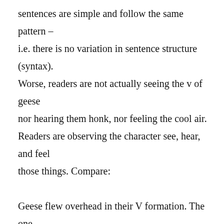sentences are simple and follow the same pattern – i.e. there is no variation in sentence structure (syntax). Worse, readers are not actually seeing the v of geese nor hearing them honk, nor feeling the cool air. Readers are observing the character see, hear, and feel those things. Compare:

Geese flew overhead in their V formation. The one leading them began to honk incessantly, a father scolding his children not to make him turn that formation around. The cool, crispness of the October morning seeped through the flannel of his shirt, goosebumping his skin. And then a shot rang out,